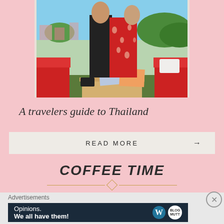[Figure (photo): Two people standing/embracing on a balcony or terrace with red chairs/sofas, a table with items on it, and greenery/buildings visible through a window in the background.]
A travelers guide to Thailand
READ MORE →
COFFEE TIME
Advertisements
[Figure (other): WordPress advertisement banner: 'Opinions. We all have them!' with WordPress logo and another circular logo on dark navy background.]